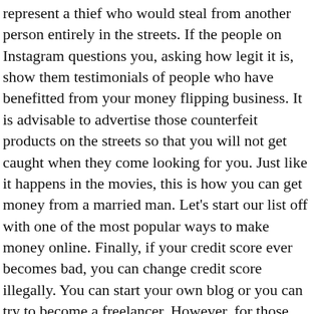represent a thief who would steal from another person entirely in the streets. If the people on Instagram questions you, asking how legit it is, show them testimonials of people who have benefitted from your money flipping business. It is advisable to advertise those counterfeit products on the streets so that you will not get caught when they come looking for you. Just like it happens in the movies, this is how you can get money from a married man. Let's start our list off with one of the most popular ways to make money online. Finally, if your credit score ever becomes bad, you can change credit score illegally. You can start your own blog or you can try to become a freelancer. However, for those who seek to avoid this type of con, you must stay watchful and look out for people who are suspicious of their doings. Do Quick Online Tasks. I can authoritatively tell you that there is nobody that is too smart to fall for a scam no matter how strong you think you are in your mind. By playing your cards right, you can make some easy money online doing things you're already doing. If you play this game well, you are